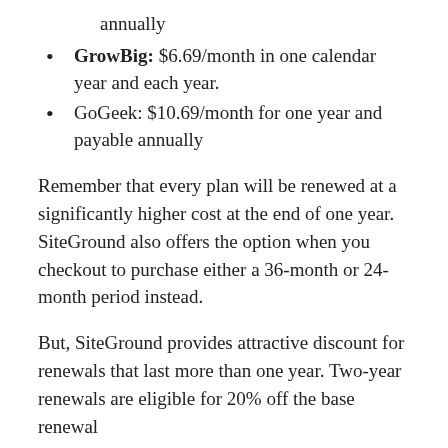annually
GrowBig: $6.69/month in one calendar year and each year.
GoGeek: $10.69/month for one year and payable annually
Remember that every plan will be renewed at a significantly higher cost at the end of one year. SiteGround also offers the option when you checkout to purchase either a 36-month or 24-month period instead.
But, SiteGround provides attractive discount for renewals that last more than one year. Two-year renewals are eligible for 20% off the base renewal